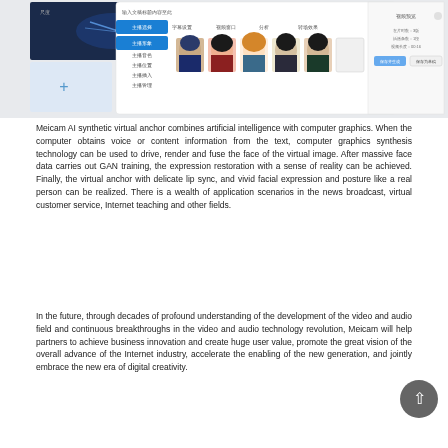[Figure (screenshot): Screenshot of Meicam AI virtual anchor software interface showing a Chinese-language UI with multiple avatar face options (anime and realistic styles) arranged horizontally, with navigation menu on the left side, and settings/save buttons on the right.]
Meicam AI synthetic virtual anchor combines artificial intelligence with computer graphics. When the computer obtains voice or content information from the text, computer graphics synthesis technology can be used to drive, render and fuse the face of the virtual image. After massive face data carries out GAN training, the expression restoration with a sense of reality can be achieved. Finally, the virtual anchor with delicate lip sync, and vivid facial expression and posture like a real person can be realized. There is a wealth of application scenarios in the news broadcast, virtual customer service, Internet teaching and other fields.
In the future, through decades of profound understanding of the development of the video and audio field and continuous breakthroughs in the video and audio technology revolution, Meicam will help partners to achieve business innovation and create huge user value, promote the great vision of the overall advance of the Internet industry, accelerate the enabling of the new generation, and jointly embrace the new era of digital creativity.